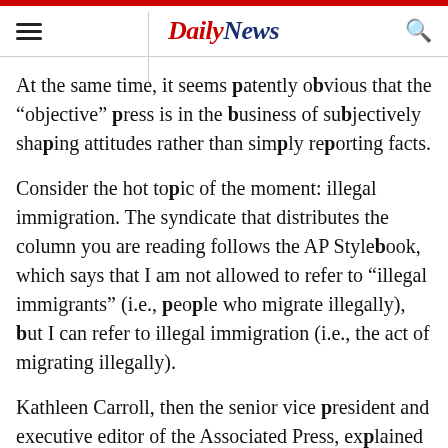Daily News
At the same time, it seems patently obvious that the “objective” press is in the business of subjectively shaping attitudes rather than simply reporting facts.
Consider the hot topic of the moment: illegal immigration. The syndicate that distributes the column you are reading follows the AP Stylebook, which says that I am not allowed to refer to “illegal immigrants” (i.e., people who migrate illegally), but I can refer to illegal immigration (i.e., the act of migrating illegally).
Kathleen Carroll, then the senior vice president and executive editor of the Associated Press, explained that the change was part of the AP’s policy against